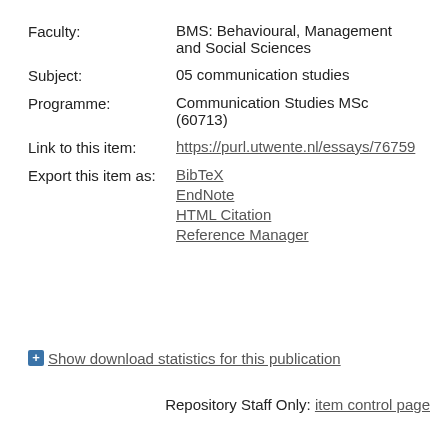Faculty: BMS: Behavioural, Management and Social Sciences
Subject: 05 communication studies
Programme: Communication Studies MSc (60713)
Link to this item: https://purl.utwente.nl/essays/76759
Export this item as: BibTeX, EndNote, HTML Citation, Reference Manager
+ Show download statistics for this publication
Repository Staff Only: item control page